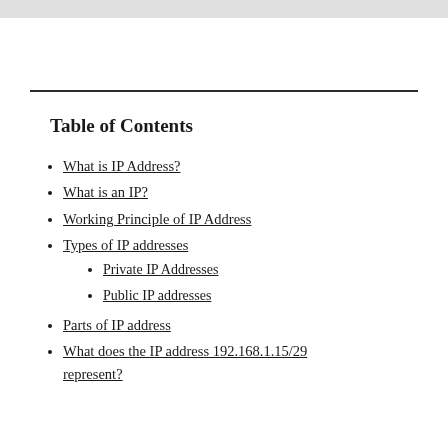Table of Contents
What is IP Address?
What is an IP?
Working Principle of IP Address
Types of IP addresses
Private IP Addresses
Public IP addresses
Parts of IP address
What does the IP address 192.168.1.15/29 represent?